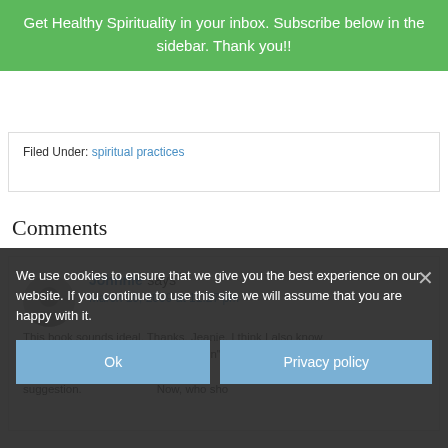Get Healthy Spirituality in your inbox. Subscribe below in the sidebar. Thank you!!
Filed Under: spiritual practices
Comments
Johnnie says
March 10, 2009 at 11:27 pm
This book sounds ideal. Thanks, Jeanie. I think I also know who I want to "be" and want to "put on" and study this year. Thanks, Jeanie, for making that suggestion. Now, who should pick...
We use cookies to ensure that we give you the best experience on our website. If you continue to use this site we will assume that you are happy with it.
Ok    Privacy policy